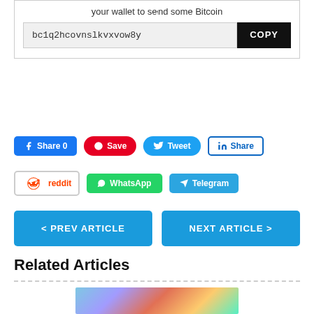your wallet to send some Bitcoin
bc1q2hcovnslkvxvow8y
COPY
Share 0
Save
Tweet
Share
reddit
WhatsApp
Telegram
< PREV ARTICLE
NEXT ARTICLE >
Related Articles